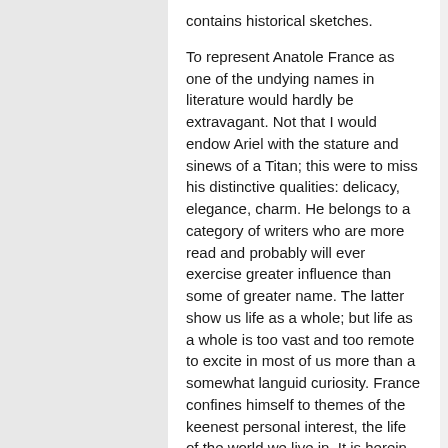contains historical sketches.
To represent Anatole France as one of the undying names in literature would hardly be extravagant. Not that I would endow Ariel with the stature and sinews of a Titan; this were to miss his distinctive qualities: delicacy, elegance, charm. He belongs to a category of writers who are more read and probably will ever exercise greater influence than some of greater name. The latter show us life as a whole; but life as a whole is too vast and too remote to excite in most of us more than a somewhat languid curiosity. France confines himself to themes of the keenest personal interest, the life of the world we live in. It is herein that he excels! His knowledge is wide, his